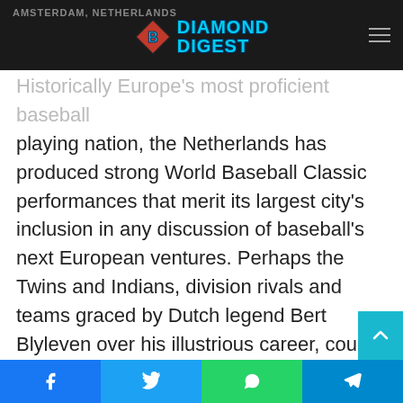AMSTERDAM, NETHERLANDS — Diamond Digest
Historically Europe's most proficient baseball playing nation, the Netherlands has produced strong World Baseball Classic performances that merit its largest city's inclusion in any discussion of baseball's next European ventures. Perhaps the Twins and Indians, division rivals and teams graced by Dutch legend Bert Blyleven over his illustrious career, could lead the charge.
JOHANNESBURG, SOUTH AFRICA